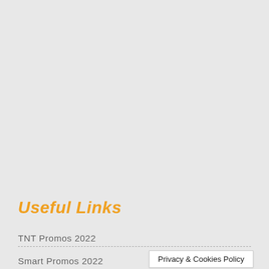Useful Links
TNT Promos 2022
Smart Promos 2022
Privacy & Cookies Policy